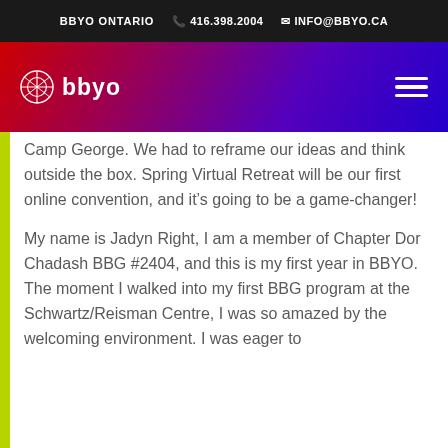BBYO ONTARIO  📞 416.398.2004  ✉ INFO@BBYO.CA
[Figure (logo): BBYO logo with navigation bar showing gradient from red to purple, hamburger menu icon on right]
Camp George. We had to reframe our ideas and think outside the box. Spring Virtual Retreat will be our first online convention, and it's going to be a game-changer!
My name is Jadyn Right, I am a member of Chapter Dor Chadash BBG #2404, and this is my first year in BBYO. The moment I walked into my first BBG program at the Schwartz/Reisman Centre, I was so amazed by the welcoming environment. I was eager to